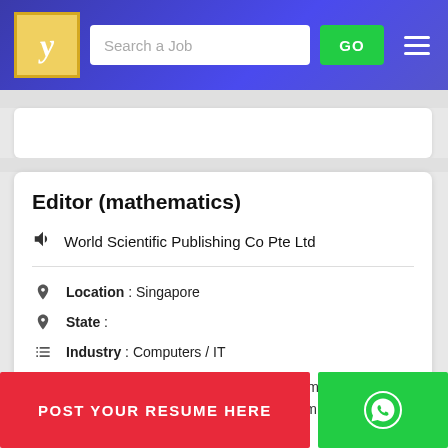Search a Job | GO
Editor (mathematics)
World Scientific Publishing Co Pte Ltd
Location : Singapore
State :
Industry : Computers / IT
Roles & ResponsibilitiesWe are looking for ambitious, motivated individuals to join our Editorial team as an editor to acquire books a... ...ust